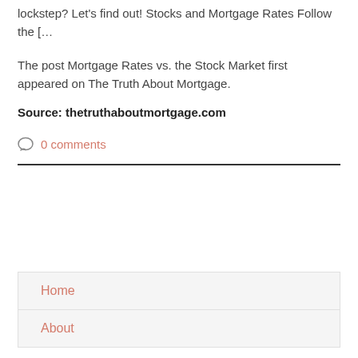lockstep? Let's find out! Stocks and Mortgage Rates Follow the [&hellip
The post Mortgage Rates vs. the Stock Market first appeared on The Truth About Mortgage.
Source: thetruthaboutmortgage.com
0 comments
Home
About